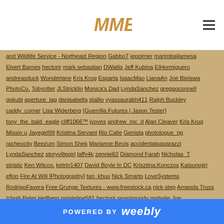MMB logo and navigation
and Wildlife Service - Northeast Region GabboT jepoirrier marimbajlamesa Elvert Barnes hectorir mark sebastian DWallis Jeff Kubina ElHormiguero andreasduck Wonderlane Kris Krug Esparta IsaacMao LianaAn Joe Bielawa PhotoCo. Tobyotter JLStricklin Monica's Dad LyndaSanchez greggoconnell gokubi aperture_lag danisabella stallio vyassaurabh411 Ralph Buckley caddy_corner Lisa Widerberg {Guerrilla Futures | Jason Tester} tony_the_bald_eagle cliff1066™ jvoves andrew_mc_d Alan Cleaver Kris Krug Missin u Jayegirl99 Kristina Servant Rio Calle Genista photologue_np racheocity Beezum Simon Shek Marianne Bevis accidentalpaparazzi LyndaSanchez storyvillegirl laffy4k zennie62 Diamond Farah Nicholas_T striatic Ken Wilcox. ketrin1407 David Boyle In DC Krisztina.Konczos Katsunojiri eflon Fire At Will [Photography] tan_khuu Nick Smarto LoveSystems RodrigoFavera Free Grunge Textures - www.freestock.ca nick step Amanda Truss /clash Peter Hellberg paisteline581 hectorir sean|mundy mahalie Joe
POWERED BY weebly